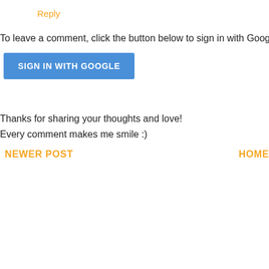Reply
To leave a comment, click the button below to sign in with Goog
[Figure (other): Blue 'SIGN IN WITH GOOGLE' button]
Thanks for sharing your thoughts and love!
Every comment makes me smile :)
NEWER POST
HOME